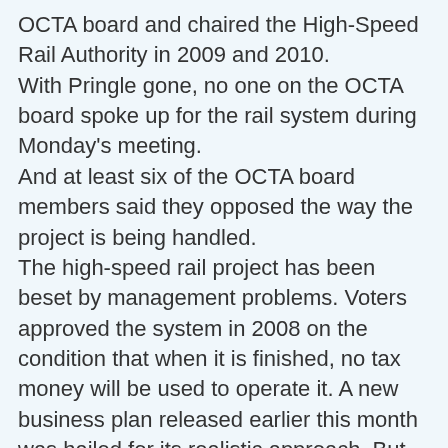OCTA board and chaired the High-Speed Rail Authority in 2009 and 2010.
With Pringle gone, no one on the OCTA board spoke up for the rail system during Monday's meeting.
And at least six of the OCTA board members said they opposed the way the project is being handled.
The high-speed rail project has been beset by management problems. Voters approved the system in 2008 on the condition that when it is finished, no tax money will be used to operate it. A new business plan released earlier this month was hailed for its realistic approach. But that created other problems, because the plan estimated the cost would be $98.5 billion, more than double the previous $43-billion estimate. It also predicted that most private investment, which had been promoted as a way to offset tax money, wouldn't materialize until after the system is up and running.
The rail authority's new business plan is open for